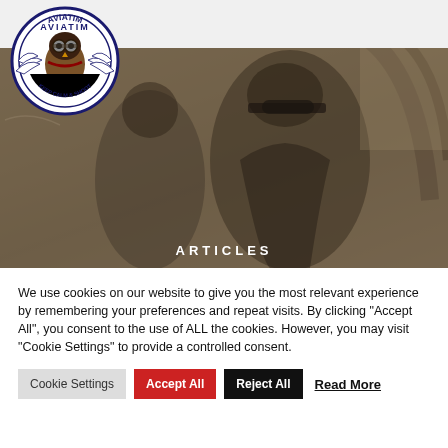[Figure (photo): Aviatim website header with logo (circular badge with owl pilot mascot, text 'AVIATIM' and 'KEEP CALM & SHOOT') and hamburger menu icon on grey bar. Below is a sepia-toned hero photo of a military pilot in uniform with cap, with 'ARTICLES' text overlay at bottom center.]
We use cookies on our website to give you the most relevant experience by remembering your preferences and repeat visits. By clicking "Accept All", you consent to the use of ALL the cookies. However, you may visit "Cookie Settings" to provide a controlled consent.
Cookie Settings | Accept All | Reject All | Read More